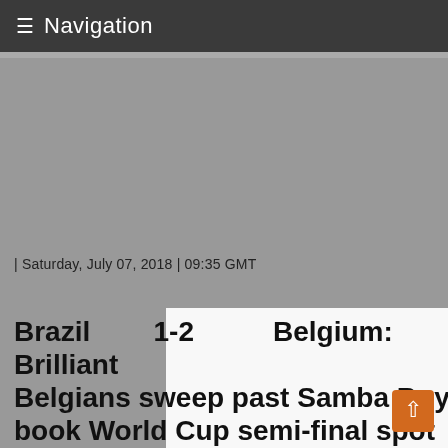≡ Navigation
| Saturday, July 07, 2018 | 09:35 GMT
Brazil 1-2 Belgium: Brilliant Belgians sweep past Samba Boys to book World Cup semi-final spot
[Figure (photo): Soccer match photo showing a Belgium player in red jersey celebrating/reacting and Brazil players in yellow jerseys, with crowd in background]